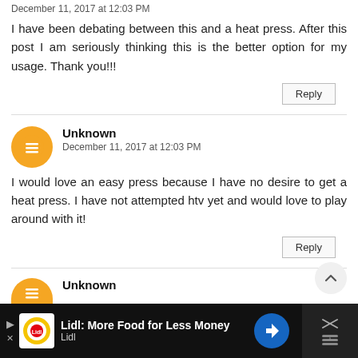December 11, 2017 at 12:03 PM
I have been debating between this and a heat press. After this post I am seriously thinking this is the better option for my usage. Thank you!!!
Reply
Unknown
December 11, 2017 at 12:03 PM
I would love an easy press because I have no desire to get a heat press. I have not attempted htv yet and would love to play around with it!
Reply
Unknown
Lidl: More Food for Less Money
Lidl